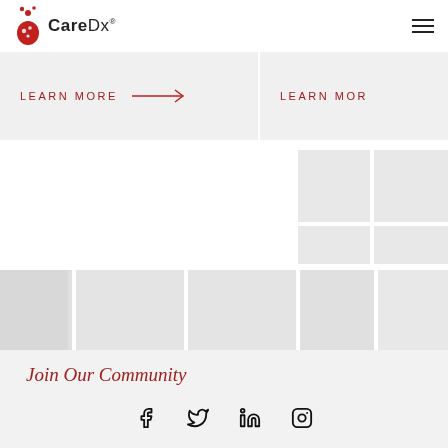[Figure (logo): CareDx logo with red droplet/molecule icon and CareDx wordmark]
LEARN MORE →
LEARN MOR...
[Figure (illustration): Decorative gray tile/mosaic background pattern]
Join Our Community
Sign up for Our Transplant Journeys Newsletter.
[Figure (infographic): Social media icons: Facebook, Twitter, LinkedIn, Instagram]